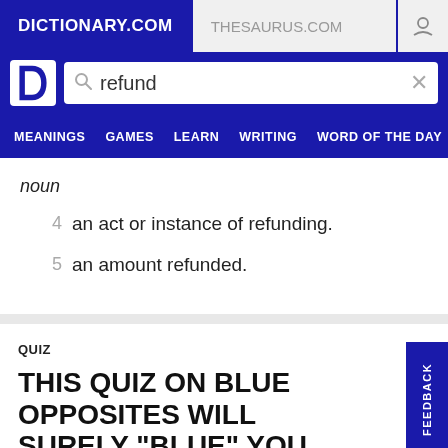DICTIONARY.COM | THESAURUS.COM
refund
noun
4  an act or instance of refunding.
5  an amount refunded.
QUIZ
THIS QUIZ ON BLUE OPPOSITES WILL SURELY "BLUE" YOU AWAY
What do you think the opposite of blue is? See how much you know about the many ways we can